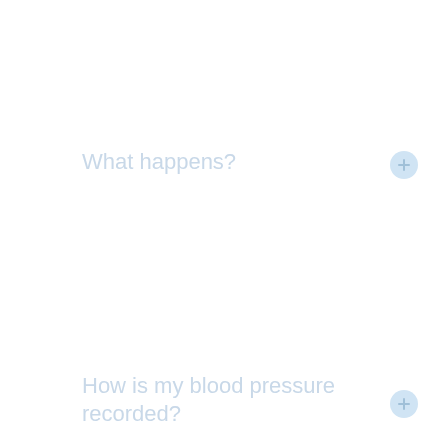What happens?
How is my blood pressure recorded?
What can I do while the cuff is in place?